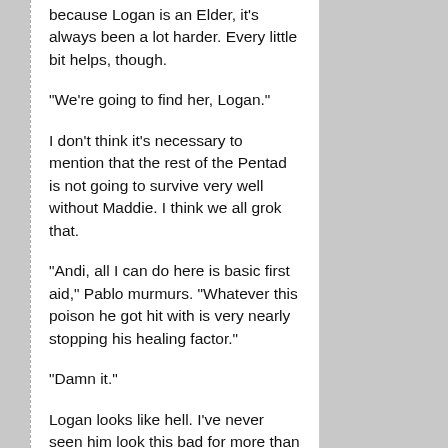because Logan is an Elder, it's always been a lot harder. Every little bit helps, though.
"We're going to find her, Logan."
I don't think it's necessary to mention that the rest of the Pentad is not going to survive very well without Maddie. I think we all grok that.
"Andi, all I can do here is basic first aid," Pablo murmurs. "Whatever this poison he got hit with is very nearly stopping his healing factor."
"Damn it."
Logan looks like hell. I've never seen him look this bad for more than a couple of minutes. And it's going on five now. I take a close, deep look at his qi and meridians.